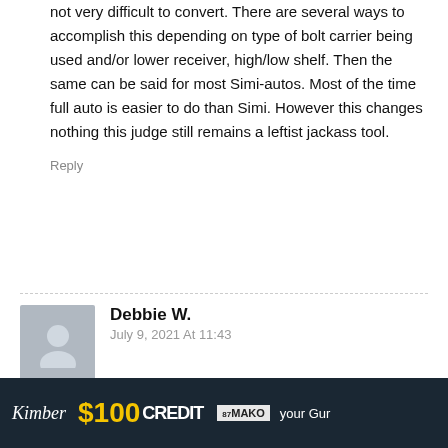not very difficult to convert. There are several ways to accomplish this depending on type of bolt carrier being used and/or lower receiver, high/low shelf. Then the same can be said for most Simi-autos. Most of the time full auto is easier to do than Simi. However this changes nothing this judge still remains a leftist jackass tool.
Reply
Debbie W.
July 9, 2021 At 11:43
Well judge dumbazz there is an old Federal Law that says it is illegal to covert or modify anything to spit projectiles with one squeeze of the trigger. Therefore an AR15 or any other firearm cannot be
enalty of that
[Figure (screenshot): Advertisement banner with dark background showing '$100 CREDIT' text and MAKO logo]